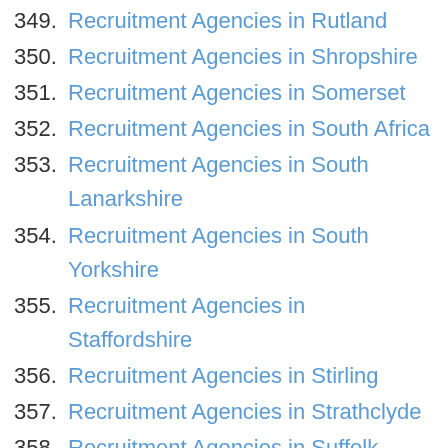349. Recruitment Agencies in Rutland
350. Recruitment Agencies in Shropshire
351. Recruitment Agencies in Somerset
352. Recruitment Agencies in South Africa
353. Recruitment Agencies in South Lanarkshire
354. Recruitment Agencies in South Yorkshire
355. Recruitment Agencies in Staffordshire
356. Recruitment Agencies in Stirling
357. Recruitment Agencies in Strathclyde
358. Recruitment Agencies in Suffolk
359. Recruitment Agencies in Surrey
360. Recruitment Agencies in Swansea
361. Recruitment Agencies in Teesside
362. Recruitment Agencies in ...